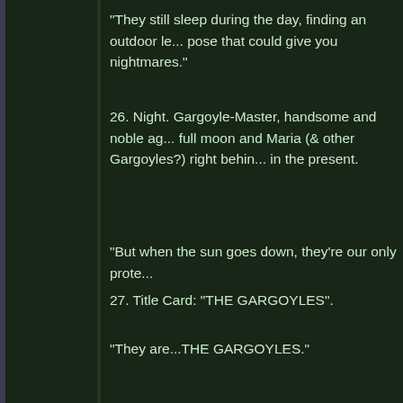"They still sleep during the day, finding an outdoor location to pose that could give you nightmares."
26. Night. Gargoyle-Master, handsome and noble against the full moon and Maria (& other Gargoyles?) right behind him; even in the present.
"But when the sun goes down, they're our only prote...
27. Title Card: "THE GARGOYLES".
"They are...THE GARGOYLES."
A random thought that went nowhere...
We were still struggling to come up with some kind of names of our gargoyle characters...
[3] From: Greg Weisman 2/2/92 4:39PM (375 bytes:
To: Gary Krisel, Kimberlee Mozingo, Greg Weisman, Fred Schaefer, Mike Ryan, Hali Helfgott